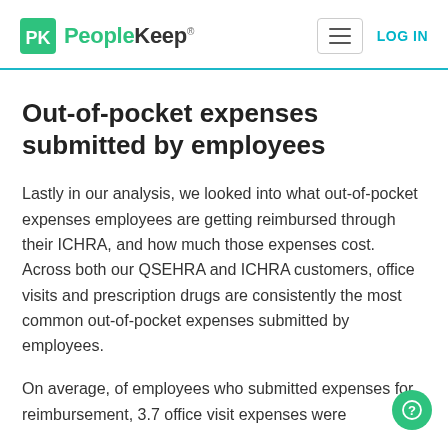PeopleKeep | LOG IN
Out-of-pocket expenses submitted by employees
Lastly in our analysis, we looked into what out-of-pocket expenses employees are getting reimbursed through their ICHRA, and how much those expenses cost. Across both our QSEHRA and ICHRA customers, office visits and prescription drugs are consistently the most common out-of-pocket expenses submitted by employees.
On average, of employees who submitted expenses for reimbursement, 3.7 office visit expenses were submitted per year on average.